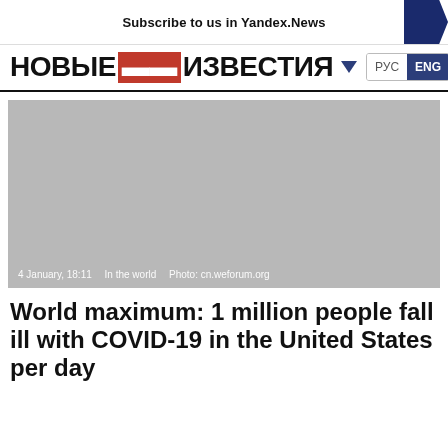Subscribe to us in Yandex.News
[Figure (logo): Novye Izvestia (Новые Известия) newspaper logo with Cyrillic text and language selector showing РУС / ENG with search icon]
[Figure (photo): Gray placeholder image for a news article photo with caption: 4 January, 18:11  In the world  Photo: cn.weforum.org]
4 January, 18:11   In the world   Photo: cn.weforum.org
World maximum: 1 million people fall ill with COVID-19 in the United States per day